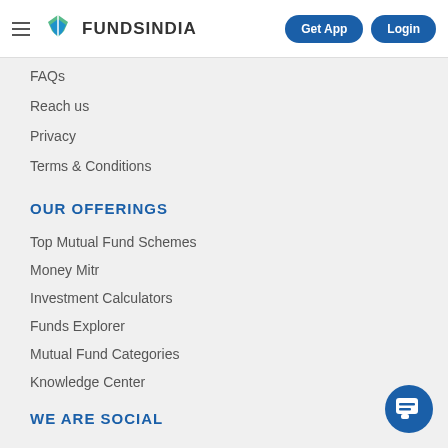FUNDSINDIA | Get App | Login
FAQs
Reach us
Privacy
Terms & Conditions
OUR OFFERINGS
Top Mutual Fund Schemes
Money Mitr
Investment Calculators
Funds Explorer
Mutual Fund Categories
Knowledge Center
WE ARE SOCIAL
[Figure (other): Chat support bubble icon in bottom right corner]